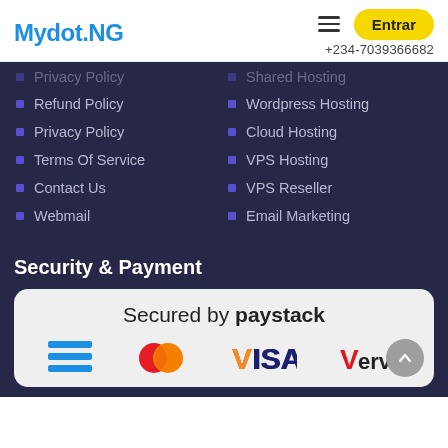Mydot.NG | Entrar | +234-7039366682
Shared Hosting (faded/partial)
Refund Policy
Wordpress Hosting
Privacy Policy
Cloud Hosting
Terms Of Service
VPS Hosting
Contact Us
VPS Reseller
Webmail
Email Marketing
Security & Payment
[Figure (infographic): Secured by paystack payment card showing Mastercard, VISA, and Verve logos]